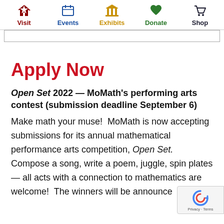Visit | Events | Exhibits | Donate | Shop
Apply Now
Open Set 2022 — MoMath's performing arts contest (submission deadline September 6)
Make math your muse!  MoMath is now accepting submissions for its annual mathematical performance arts competition, Open Set.  Compose a song, write a poem, juggle, spin plates — all acts with a connection to mathematics are welcome!  The winners will be announced at the end of the competition.